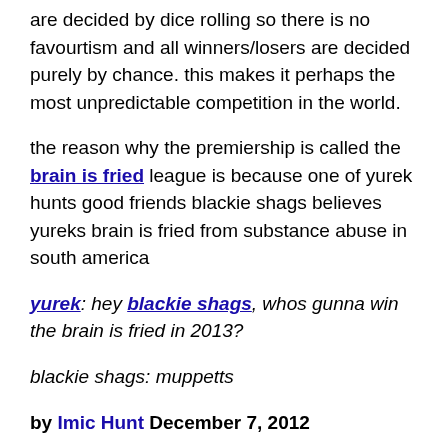are decided by dice rolling so there is no favourtism and all winners/losers are decided purely by chance. this makes it perhaps the most unpredictable competition in the world.
the reason why the premiership is called the brain is fried league is because one of yurek hunts good friends blackie shags believes yureks brain is fried from substance abuse in south america
yurek: hey blackie shags, whos gunna win the brain is fried in 2013?
blackie shags: muppetts
by Imic Hunt December 7, 2012